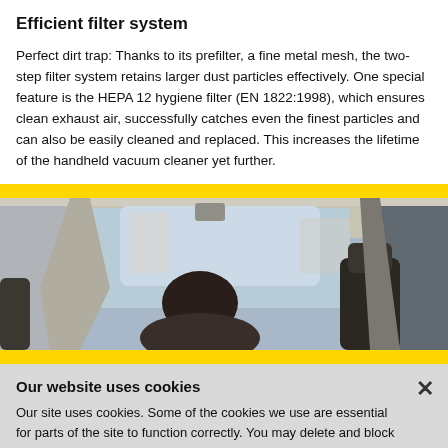Efficient filter system
Perfect dirt trap: Thanks to its prefilter, a fine metal mesh, the two-step filter system retains larger dust particles effectively. One special feature is the HEPA 12 hygiene filter (EN 1822:1998), which ensures clean exhaust air, successfully catches even the finest particles and can also be easily cleaned and replaced. This increases the lifetime of the handheld vacuum cleaner yet further.
[Figure (photo): A person viewed from inside a car, looking through the car windshield and side windows showing an exterior scene. The image is framed by a yellow banner above.]
Our website uses cookies
Our site uses cookies. Some of the cookies we use are essential for parts of the site to function correctly. You may delete and block all cookies from this site, but parts of the site will not function correctly.